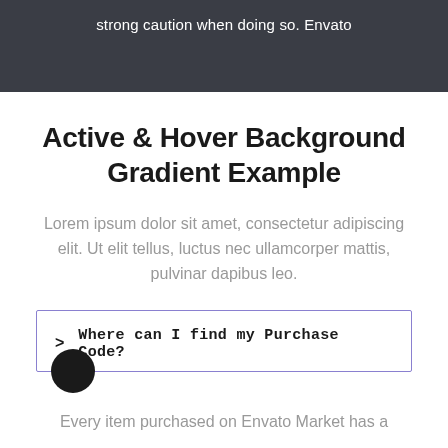strong caution when doing so. Envato
Active & Hover Background Gradient Example
Lorem ipsum dolor sit amet, consectetur adipiscing elit. Ut elit tellus, luctus nec ullamcorper mattis, pulvinar dapibus leo.
Where can I find my Purchase Code?
Every item purchased on Envato Market has a